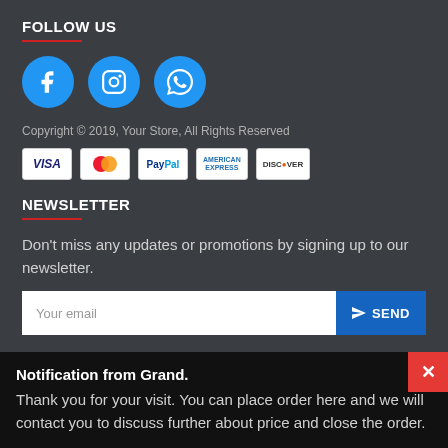FOLLOW US
[Figure (illustration): Three social media icons (Facebook, Instagram, WhatsApp) as blue circles with white icons]
Copyright © 2019, Your Store, All Rights Reserved
[Figure (illustration): Payment method badges: VISA, Mastercard, PayPal, American Express, Discover]
NEWSLETTER
Don't miss any updates or promotions by signing up to our newsletter.
Your email  SEND
Notification from Grand.
Thank you for your visit. You can place order here and we will contact you to discuss further about price and close the order.